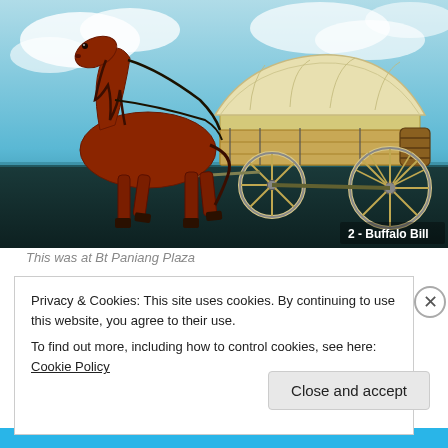[Figure (photo): A figurine of a brown horse pulling a covered pioneer wagon (Conestoga-style) with wooden spoke wheels and a barrel on the side. The background shows a sky with clouds and a dark ground. A watermark label in the bottom right reads '2 - Buffalo Bill'.]
This was at Bt Paniang Plaza
Privacy & Cookies: This site uses cookies. By continuing to use this website, you agree to their use.
To find out more, including how to control cookies, see here: Cookie Policy